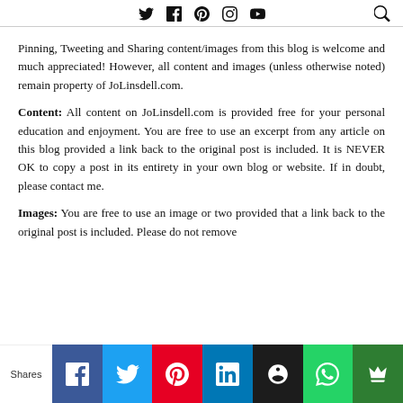[social icons: Twitter, Facebook, Pinterest, Instagram, YouTube] [search icon]
Pinning, Tweeting and Sharing content/images from this blog is welcome and much appreciated! However, all content and images (unless otherwise noted) remain property of JoLinsdell.com.
Content: All content on JoLinsdell.com is provided free for your personal education and enjoyment. You are free to use an excerpt from any article on this blog provided a link back to the original post is included. It is NEVER OK to copy a post in its entirety in your own blog or website. If in doubt, please contact me.
Images: You are free to use an image or two provided that a link back to the original post is included. Please do not remove
[Figure (infographic): Social share bar with Shares label and buttons: Facebook (blue), Twitter (light blue), Pinterest (red), LinkedIn (blue), Buffer (black with owl icon), WhatsApp (green), Crown (dark green)]